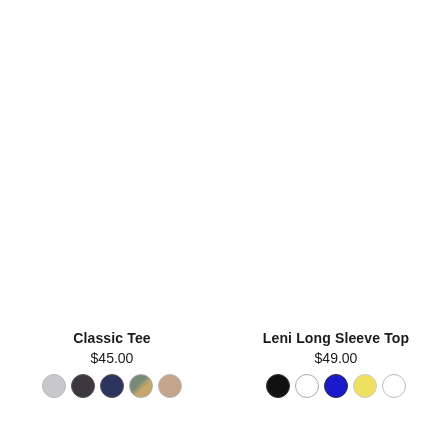[Figure (photo): Product image area (mostly white/blank) for Classic Tee on the left]
[Figure (photo): Product image area (mostly white/blank) for Leni Long Sleeve Top on the right]
Classic Tee
$45.00
[Figure (other): Color swatches for Classic Tee: light grey, dark grey/charcoal, navy, stripe (grey/gold), tan]
Leni Long Sleeve Top
$49.00
[Figure (other): Color swatches for Leni Long Sleeve Top: black, white (ring), blue, yellow, white]